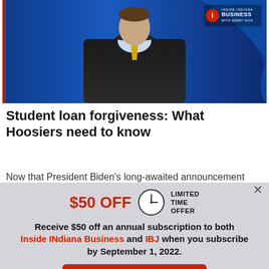[Figure (screenshot): News broadcast screenshot showing a man in a dark pinstripe suit and yellow tie against a blue studio background, with Inside INdiana Business logo in top right corner]
Student loan forgiveness: What Hoosiers need to know
Now that President Biden's long-awaited announcement
$50 OFF  LIMITED TIME OFFER
Receive $50 off an annual subscription to both Inside INdiana Business and IBJ when you subscribe by September 1, 2022.
Subscribe Now
Already a paid subscriber?
Log In